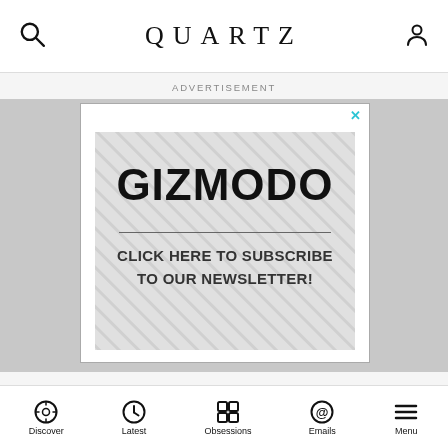QUARTZ
ADVERTISEMENT
[Figure (other): Gizmodo advertisement banner with diagonal stripe background showing 'GIZMODO' logo and 'CLICK HERE TO SUBSCRIBE TO OUR NEWSLETTER!' call to action]
We know this now more than ever. We live not in isolated pockets of prejudice, but with a collection of
Discover   Latest   Obsessions   Emails   Menu